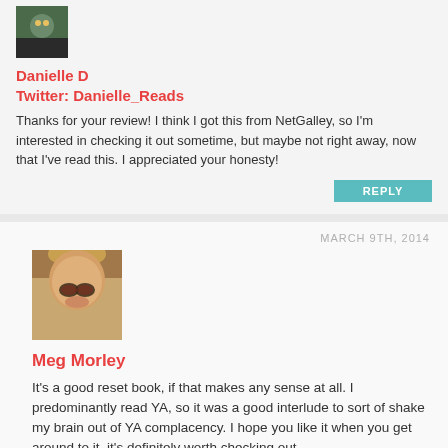[Figure (photo): Small avatar image of user Danielle D, partially visible at top]
Danielle D
Twitter: Danielle_Reads
Thanks for your review! I think I got this from NetGalley, so I'm interested in checking it out sometime, but maybe not right away, now that I've read this. I appreciated your honesty!
REPLY
MARCH 9TH, 2014
[Figure (photo): Avatar image of Meg Morley, woman wearing sunglasses and a bear-ear hat]
Meg Morley
It's a good reset book, if that makes any sense at all. I predominantly read YA, so it was a good interlude to sort of shake my brain out of YA complacency. I hope you like it when you get around to it, it's definitely worth checking out.
REPLY